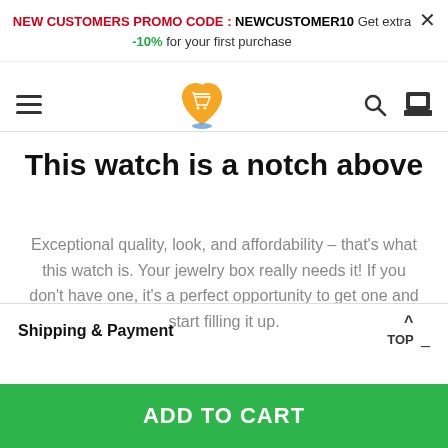NEW CUSTOMERS PROMO CODE : NEWCUSTOMER10 Get extra -10% for your first purchase
[Figure (logo): Shopping cart logo inside heart shape, orange and blue colors]
This watch is a notch above
Exceptional quality, look, and affordability – that's what this watch is. Your jewelry box really needs it! If you don't have one, it's a perfect opportunity to get one and start filling it up.
Shipping & Payment
ADD TO CART